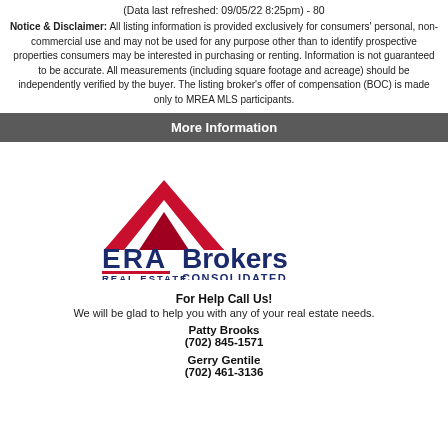(Data last refreshed: 09/05/22 8:25pm) - 80
Notice & Disclaimer: All listing information is provided exclusively for consumers' personal, non-commercial use and may not be used for any purpose other than to identify prospective properties consumers may be interested in purchasing or renting. Information is not guaranteed to be accurate. All measurements (including square footage and acreage) should be independently verified by the buyer. The listing broker's offer of compensation (BOC) is made only to MREA MLS participants.
More Information
[Figure (logo): ERA Brokers Consolidated Real Estate logo with red house/chevron shape and blue text]
For Help Call Us!
We will be glad to help you with any of your real estate needs.
Patty Brooks
(702) 845-1571
Gerry Gentile
(702) 461-3136